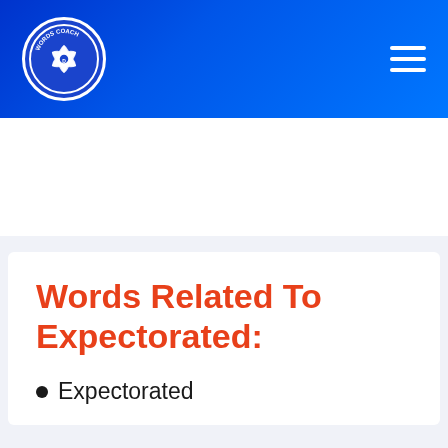Words Coach
Words Related To Expectorated:
Expectorated